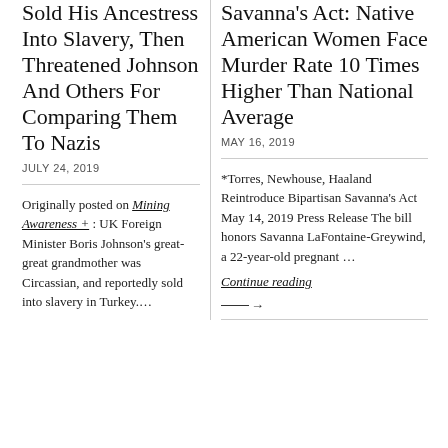Sold His Ancestress Into Slavery, Then Threatened Johnson And Others For Comparing Them To Nazis
JULY 24, 2019
Originally posted on Mining Awareness + : UK Foreign Minister Boris Johnson's great-great grandmother was Circassian, and reportedly sold into slavery in Turkey.…
Savanna's Act: Native American Women Face Murder Rate 10 Times Higher Than National Average
MAY 16, 2019
*Torres, Newhouse, Haaland Reintroduce Bipartisan Savanna's Act May 14, 2019 Press Release The bill honors Savanna LaFontaine-Greywind, a 22-year-old pregnant …
Continue reading